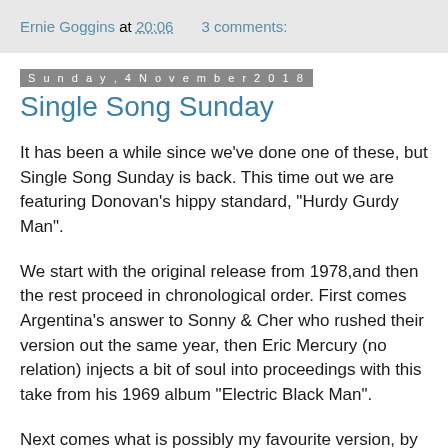Ernie Goggins at 20:06   3 comments:
Sunday, 4 November 2018
Single Song Sunday
It has been a while since we've done one of these, but Single Song Sunday is back. This time out we are featuring Donovan's hippy standard, "Hurdy Gurdy Man".
We start with the original release from 1978,and then the rest proceed in chronological order. First comes Argentina's answer to Sonny & Cher who rushed their version out the same year, then Eric Mercury (no relation) injects a bit of soul into proceedings with this take from his 1969 album "Electric Black Man".
Next comes what is possibly my favourite version, by Steve Hillage from 1976 - heavy but still hippy, and check out the live version in the clip which goes full freak out. And we finish this off with a cover that pushed into number 23 in the UK...